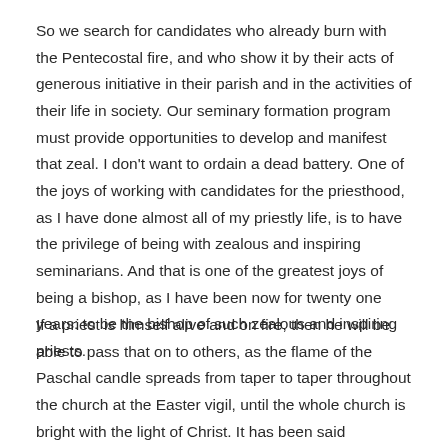So we search for candidates who already burn with the Pentecostal fire, and who show it by their acts of generous initiative in their parish and in the activities of their life in society. Our seminary formation program must provide opportunities to develop and manifest that zeal. I don't want to ordain a dead battery. One of the joys of working with candidates for the priesthood, as I have done almost all of my priestly life, is to have the privilege of being with zealous and inspiring seminarians. And that is one of the greatest joys of being a bishop, as I have been now for twenty one years: to be the bishop of such zealous and inspiring priests.
If a priest is himself alive and on fire, then he will be able to pass that on to others, as the flame of the Paschal candle spreads from taper to taper throughout the church at the Easter vigil, until the whole church is bright with the light of Christ. It has been said